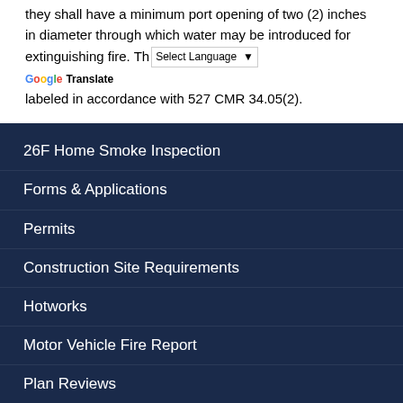they shall have a minimum port opening of two (2) inches in diameter through which water may be introduced for extinguishing fire. They shall be labeled in accordance with 527 CMR 34.05(2).
26F Home Smoke Inspection
Forms & Applications
Permits
Construction Site Requirements
Hotworks
Motor Vehicle Fire Report
Plan Reviews
Sprinkler Safety